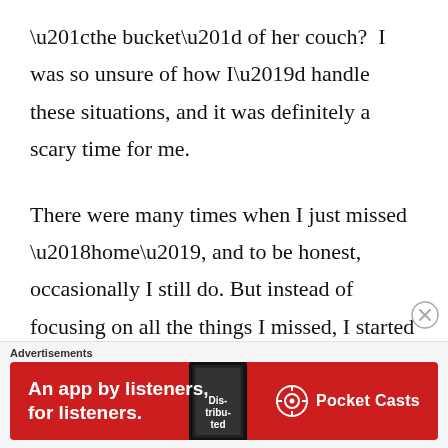“the bucket” of her couch?  I was so unsure of how I’d handle these situations, and it was definitely a scary time for me.
There were many times when I just missed ‘home’, and to be honest, occasionally I still do. But instead of focusing on all the things I missed, I started to focus on the life I was building with my sweet captain. Home will always be there, and family and friends are
Advertisements
[Figure (other): Advertisement banner for Pocket Casts app. Red background with white bold text reading 'An app by listeners, for listeners.' with a phone showing the Distributed podcast app and the Pocket Casts logo on the right.]